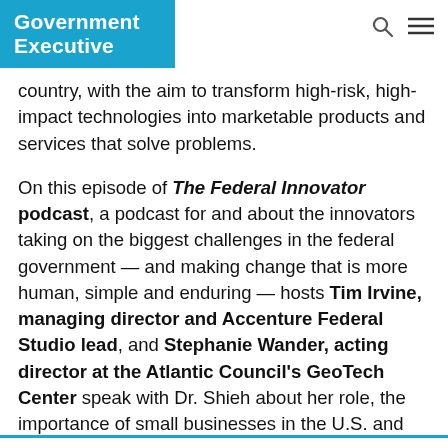Government Executive
country, with the aim to transform high-risk, high-impact technologies into marketable products and services that solve problems.
On this episode of The Federal Innovator podcast, a podcast for and about the innovators taking on the biggest challenges in the federal government — and making change that is more human, simple and enduring — hosts Tim Irvine, managing director and Accenture Federal Studio lead, and Stephanie Wander, acting director at the Atlantic Council's GeoTech Center speak with Dr. Shieh about her role, the importance of small businesses in the U.S. and what it takes to build an effective innovation pipeline.